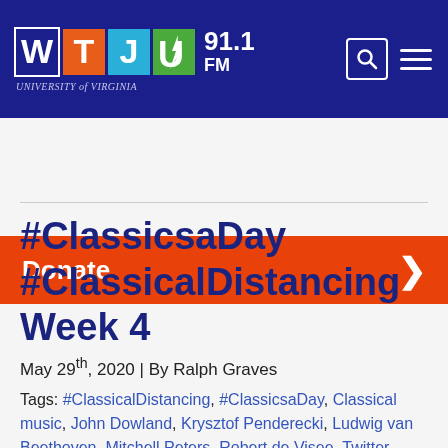[Figure (logo): WTJU 91.1 FM University of Virginia radio station logo with colored letter blocks (W dark blue, T orange, J light blue, U green with lightning bolt) and navigation icons]
Donate
#ClassicsaDay #ClassicalDistancing Week 4
May 29th, 2020 | By Ralph Graves
Tags: #ClassicalDistancing, #ClassicsaDay, Classical music, John Dowland, Krysztof Penderecki, Ludwig van Beethoven, Mitchell Peters, Robert de Visee, Twitter